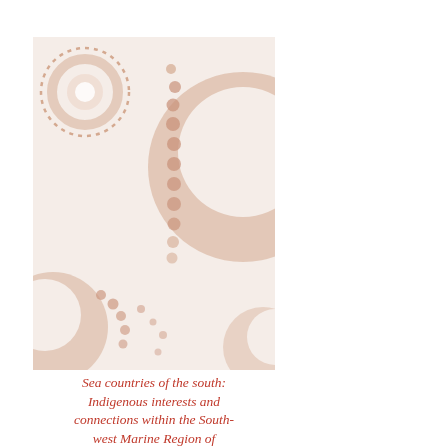[Figure (illustration): Cover image with Indigenous Australian dot art motifs on a cream/light beige background. Features circular concentric patterns and dot trails in muted terracotta and salmon tones, suggesting sea country and Indigenous artistic style.]
Sea countries of the south: Indigenous interests and connections within the South-west Marine Region of Australia